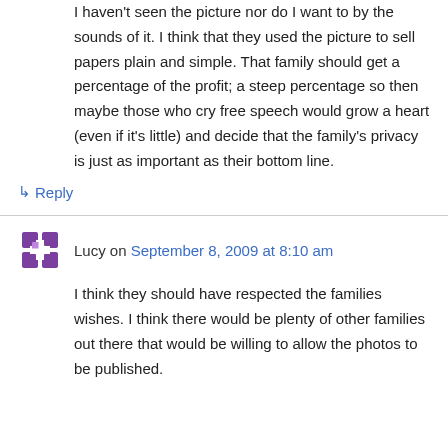I haven't seen the picture nor do I want to by the sounds of it. I think that they used the picture to sell papers plain and simple. That family should get a percentage of the profit; a steep percentage so then maybe those who cry free speech would grow a heart (even if it's little) and decide that the family's privacy is just as important as their bottom line.
↳ Reply
Lucy on September 8, 2009 at 8:10 am
I think they should have respected the families wishes. I think there would be plenty of other families out there that would be willing to allow the photos to be published.